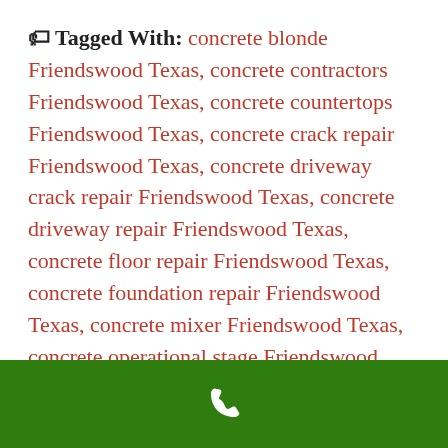Tagged With: concrete blonde Friendswood Texas, concrete contractors Friendswood Texas, concrete countertops Friendswood Texas, concrete crack repair Friendswood Texas, concrete driveway crack repair Friendswood Texas, concrete driveway repair Friendswood Texas, concrete floor repair Friendswood Texas, concrete foundation repair Friendswood Texas, concrete mixer Friendswood Texas, concrete operational stage Friendswood Texas, concrete paint Friendswood Texas, concrete pavers Friendswood Texas, concrete poem Friendswood Texas
[phone icon]